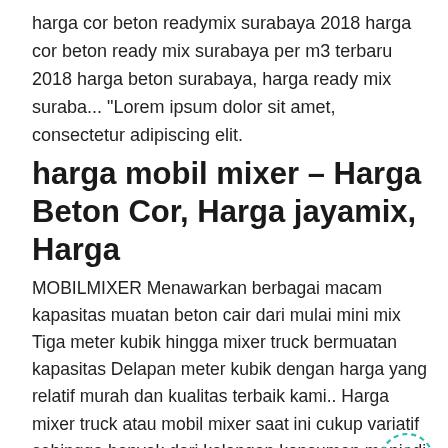harga cor beton readymix surabaya 2018 harga cor beton ready mix surabaya per m3 terbaru 2018 harga beton surabaya, harga ready mix suraba... "Lorem ipsum dolor sit amet, consectetur adipiscing elit.
harga mobil mixer – Harga Beton Cor, Harga jayamix, Harga
MOBILMIXER Menawarkan berbagai macam kapasitas muatan beton cair dari mulai mini mix Tiga meter kubik hingga mixer truck bermuatan kapasitas Delapan meter kubik dengan harga yang relatif murah dan kualitas terbaik kami.. Harga mixer truck atau mobil mixer saat ini cukup variatif sehingga banyak dari kalangan konsumen menjadi sedikit kesulitan memastikan harga yang ...
Rental Truk Mixer | Sewa Mixer Beton | Truk Mixer
Rental Truk Mix...